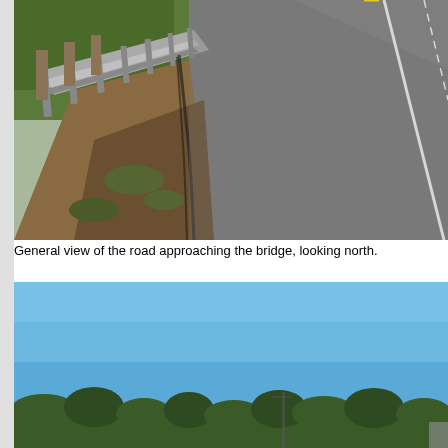[Figure (photo): Road with guardrail on the left side approaching a bridge, looking north. The road surface is asphalt with a white edge line visible. Guardrail posts are visible on the left, with grass and vegetation beyond.]
General view of the road approaching the bridge, looking north.
[Figure (photo): View with a bright blue sky taking up most of the frame, with tree tops visible at the bottom of the image. A utility pole or structure is faintly visible in the lower portion.]